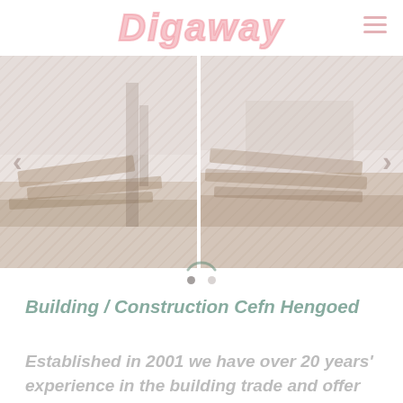Digaway
[Figure (photo): Two side-by-side construction/excavation site photos showing earthworks and timber/machinery, with left navigation arrow on left image and right navigation arrow on right image, and a loading arc spinner at center bottom]
Building / Construction Cefn Hengoed
Established in 2001 we have over 20 years' experience in the building trade and offer quality workmanship at